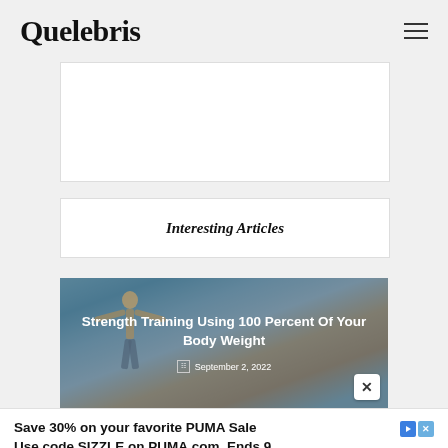Quelebris
[Figure (other): White banner advertisement placeholder box]
Interesting Articles
[Figure (photo): Article card with image of person with arms outstretched against a blue sky. Title: Strength Training Using 100 Percent Of Your Body Weight. Date: September 2, 2022]
[Figure (other): PUMA advertisement: Save 30% on your favorite PUMA Sale. Use code SIZZLE on PUMA.com. Ends 9. PUMA Labor Day Sale. Shop Now button.]